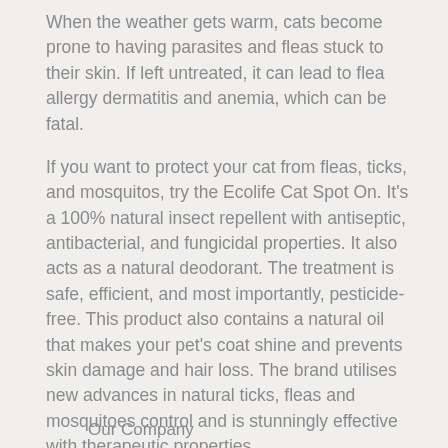When the weather gets warm, cats become prone to having parasites and fleas stuck to their skin. If left untreated, it can lead to flea allergy dermatitis and anemia, which can be fatal.
If you want to protect your cat from fleas, ticks, and mosquitos, try the Ecolife Cat Spot On. It's a 100% natural insect repellent with antiseptic, antibacterial, and fungicidal properties. It also acts as a natural deodorant. The treatment is safe, efficient, and most importantly, pesticide-free. This product also contains a natural oil that makes your pet's coat shine and prevents skin damage and hair loss. The brand utilises new advances in natural ticks, fleas and mosquitoes control and is stunningly effective with therapeutic properties.
Our Company